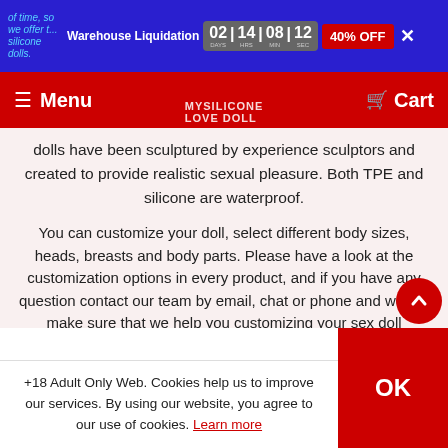Warehouse Liquidation | 02 DAYS 14 HRS 08 MIN 12 SEC | 40% OFF
Menu | Cart
dolls have been sculptured by experience sculptors and created to provide realistic sexual pleasure. Both TPE and silicone are waterproof.
You can customize your doll, select different body sizes, heads, breasts and body parts. Please have a look at the customization options in every product, and if you have any question contact our team by email, chat or phone and we will make sure that we help you customizing your sex doll according to your desires.
What are the benefits of owning a
+18 Adult Only Web. Cookies help us to improve our services. By using our website, you agree to our use of cookies. Learn more